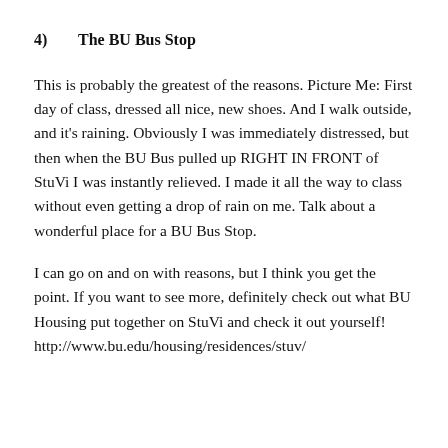4)   The BU Bus Stop
This is probably the greatest of the reasons. Picture Me: First day of class, dressed all nice, new shoes. And I walk outside, and it’s raining. Obviously I was immediately distressed, but then when the BU Bus pulled up RIGHT IN FRONT of StuVi I was instantly relieved. I made it all the way to class without even getting a drop of rain on me. Talk about a wonderful place for a BU Bus Stop.
I can go on and on with reasons, but I think you get the point. If you want to see more, definitely check out what BU Housing put together on StuVi and check it out yourself!
http://www.bu.edu/housing/residences/stuv/